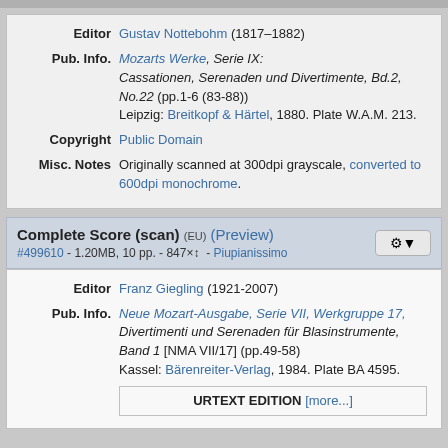| Editor | Gustav Nottebohm (1817–1882) |
| Pub. Info. | Mozarts Werke, Serie IX: Cassationen, Serenaden und Divertimente, Bd.2, No.22 (pp.1-6 (83-88)) Leipzig: Breitkopf & Härtel, 1880. Plate W.A.M. 213. |
| Copyright | Public Domain |
| Misc. Notes | Originally scanned at 300dpi grayscale, converted to 600dpi monochrome. |
Complete Score (scan) [EU] (Preview) #499610 - 1.20MB, 10 pp. - 847× - Piupianissimo
| Editor | Franz Giegling (1921-2007) |
| Pub. Info. | Neue Mozart-Ausgabe, Serie VII, Werkgruppe 17, Divertimenti und Serenaden für Blasinstrumente, Band 1 [NMA VII/17] (pp.49-58) Kassel: Bärenreiter-Verlag, 1984. Plate BA 4595. |
URTEXT EDITION [more...]